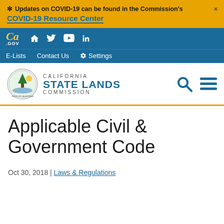✻ Updates on COVID-19 can be found in the Commission's COVID-19 Resource Center
[Figure (screenshot): California .GOV navigation bar with home, twitter, youtube, and linkedin icons]
E-Lists  Contact Us  ⚙ Settings
[Figure (logo): California State Lands Commission seal and wordmark with search and menu icons]
Applicable Civil & Government Code
Oct 30, 2018 | Laws & Regulations